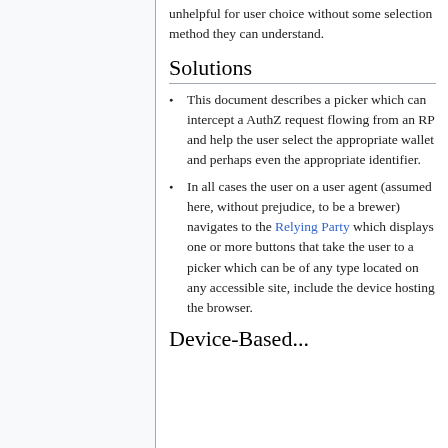unhelpful for user choice without some selection method they can understand.
Solutions
This document describes a picker which can intercept a AuthZ request flowing from an RP and help the user select the appropriate wallet and perhaps even the appropriate identifier.
In all cases the user on a user agent (assumed here, without prejudice, to be a brewer) navigates to the Relying Party which displays one or more buttons that take the user to a picker which can be of any type located on any accessible site, include the device hosting the browser.
Device-Based...